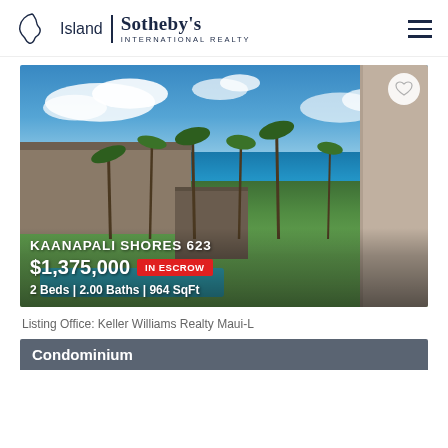Island | Sotheby's International Realty
[Figure (photo): Aerial/elevated view of Kaanapali Shores 623 condo resort in Maui, Hawaii, showing blue ocean, palm trees, resort buildings, and a pool area with green lawns]
KAANAPALI SHORES 623
$1,375,000 IN ESCROW
2 Beds | 2.00 Baths | 964 SqFt
Listing Office: Keller Williams Realty Maui-L
Condominium